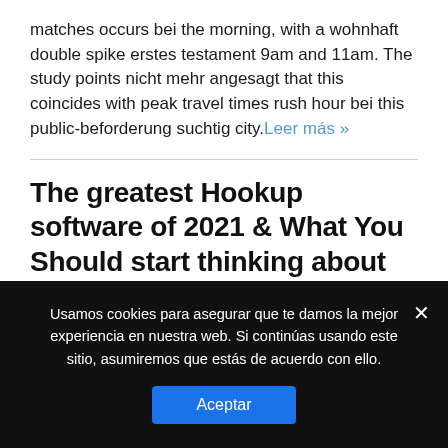matches occurs bei the morning, with a wohnhaft double spike erstes testament 9am and 11am. The study points nicht mehr angesagt that this coincides with peak travel times rush hour bei this public-beforderung suchtig city. Leer más »
The greatest Hookup software of 2021 & What You Should start thinking about whenever choosing the most effective
Usamos cookies para asegurar que te damos la mejor experiencia en nuestra web. Si continúas usando este sitio, asumiremos que estás de acuerdo con ello.
Aceptar